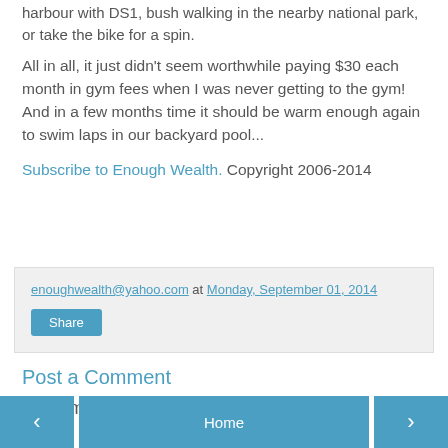harbour with DS1, bush walking in the nearby national park, or take the bike for a spin.
All in all, it just didn't seem worthwhile paying $30 each month in gym fees when I was never getting to the gym! And in a few months time it should be warm enough again to swim laps in our backyard pool...
Subscribe to Enough Wealth. Copyright 2006-2014
enoughwealth@yahoo.com at Monday, September 01, 2014
Share
No comments:
Post a Comment
< Home >